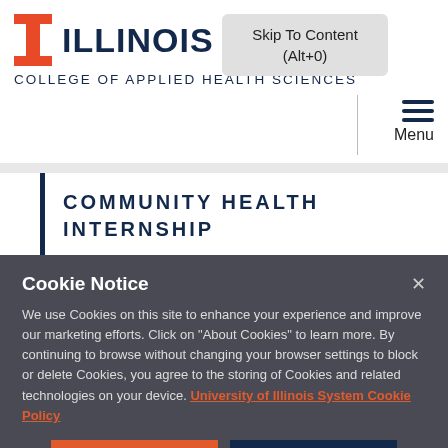ILLINOIS – COLLEGE OF APPLIED HEALTH SCIENCES
Skip To Content (Alt+0)
Menu
COMMUNITY HEALTH INTERNSHIP
Cookie Notice
We use Cookies on this site to enhance your experience and improve our marketing efforts. Click on "About Cookies" to learn more. By continuing to browse without changing your browser settings to block or delete Cookies, you agree to the storing of Cookies and related technologies on your device. University of Illinois System Cookie Policy
About Cookies
Close this Notice